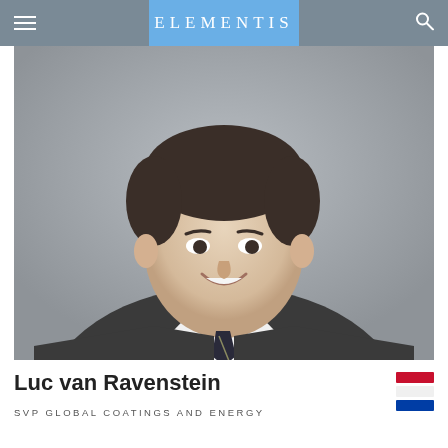ELEMENTIS
[Figure (photo): Professional headshot of Luc van Ravenstein, a man in a dark suit with a striped tie, smiling, against a grey background.]
Luc van Ravenstein
SVP GLOBAL COATINGS AND ENERGY